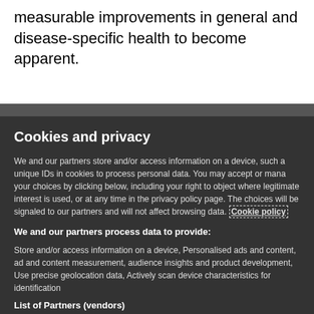measurable improvements in general and disease-specific health to become apparent.
Cookies and privacy
We and our partners store and/or access information on a device, such as unique IDs in cookies to process personal data. You may accept or manage your choices by clicking below, including your right to object where legitimate interest is used, or at any time in the privacy policy page. These choices will be signaled to our partners and will not affect browsing data. Cookie policy
We and our partners process data to provide:
Store and/or access information on a device, Personalised ads and content, ad and content measurement, audience insights and product development, Use precise geolocation data, Actively scan device characteristics for identification
List of Partners (vendors)
I Accept